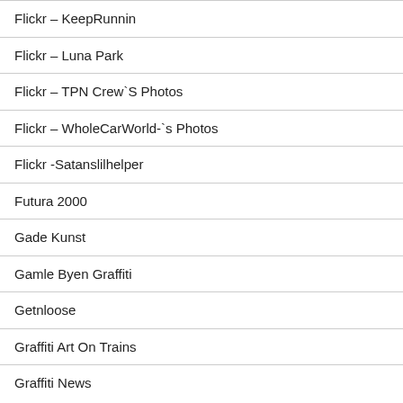Flickr – KeepRunnin
Flickr – Luna Park
Flickr – TPN Crew`S Photos
Flickr – WholeCarWorld-`s Photos
Flickr -Satanslilhelper
Futura 2000
Gade Kunst
Gamle Byen Graffiti
Getnloose
Graffiti Art On Trains
Graffiti News